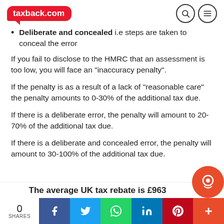taxback.com
Deliberate and concealed i.e steps are taken to conceal the error
If you fail to disclose to the HMRC that an assessment is too low, you will face an “inaccuracy penalty”.
If the penalty is as a result of a lack of “reasonable care” the penalty amounts to 0-30% of the additional tax due.
If there is a deliberate error, the penalty will amount to 20-70% of the additional tax due.
If there is a deliberate and concealed error, the penalty will amount to 30-100% of the additional tax due.
The average UK tax rebate is £963
0 SHARES